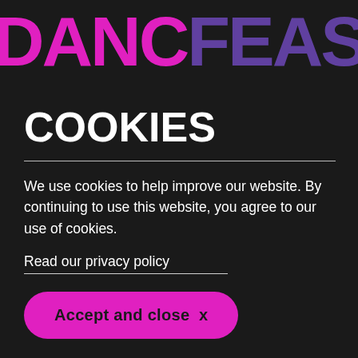[Figure (logo): DancEast logo text in large bold font, 'DANC' in magenta/pink and 'FEAST' in purple, on a dark background, partially cropped]
COOKIES
We use cookies to help improve our website. By continuing to use this website, you agree to our use of cookies.
Read our privacy policy
Accept and close  x